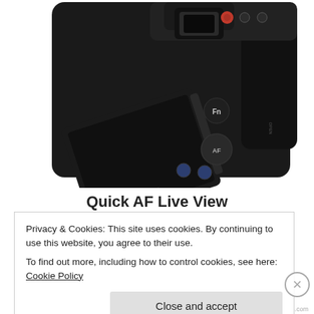[Figure (photo): Rear view of a Sony DSLR camera with articulating LCD screen tilted outward, showing viewfinder, AF button, Fn button, and various control buttons on the back panel.]
Quick AF Live View
Privacy & Cookies: This site uses cookies. By continuing to use this website, you agree to their use.
To find out more, including how to control cookies, see here: Cookie Policy
Close and accept